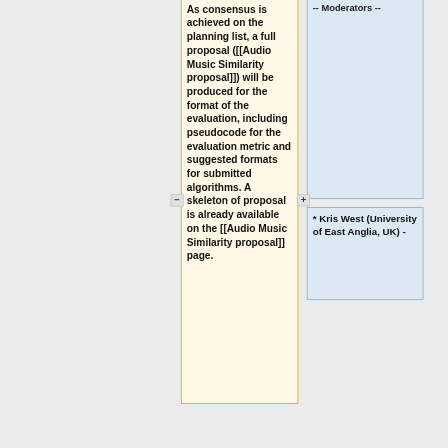As consensus is achieved on the planning list, a full proposal ([[Audio Music Similarity proposal]]) will be produced for the format of the evaluation, including pseudocode for the evaluation metric and suggested formats for submitted algorithms. A skeleton of proposal is already available on the [[Audio Music Similarity proposal]] page.
-- Moderators --
* Kris West (University of East Anglia, UK) -